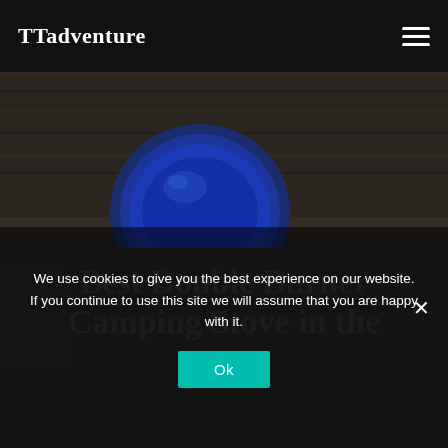TTadventure
[Figure (photo): Dark rustic wooden table surface with a blue enamel bowl/plate, a red camping stove canister on the left, and a dark camping stove grill on the right. Overhead flat-lay view of camping cookware.]
Best Double Burner Camping Stove in the UK
We use cookies to give you the best experience on our website. If you continue to use this site we will assume that you are happy with it.